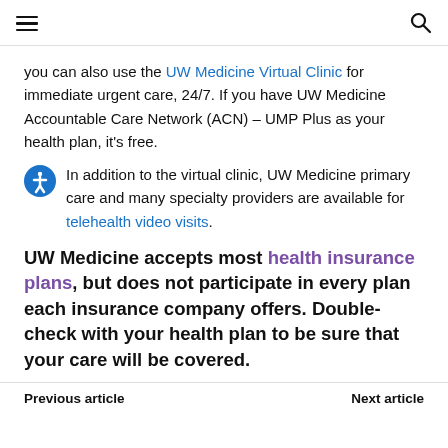[hamburger menu] [search icon]
you can also use the UW Medicine Virtual Clinic for immediate urgent care, 24/7. If you have UW Medicine Accountable Care Network (ACN) – UMP Plus as your health plan, it's free.
In addition to the virtual clinic, UW Medicine primary care and many specialty providers are available for telehealth video visits.
UW Medicine accepts most health insurance plans, but does not participate in every plan each insurance company offers. Double-check with your health plan to be sure that your care will be covered.
Previous article   Next article